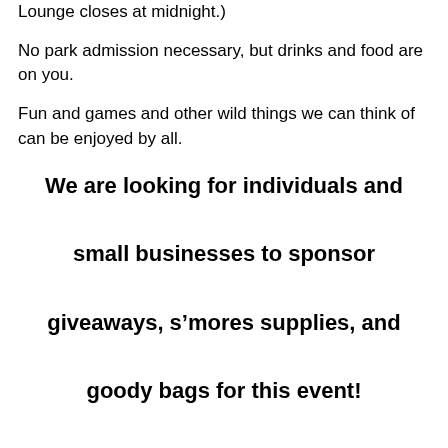Lounge closes at midnight.)
No park admission necessary, but drinks and food are on you.
Fun and games and other wild things we can think of can be enjoyed by all.
We are looking for individuals and small businesses to sponsor giveaways, s’mores supplies, and goody bags for this event!